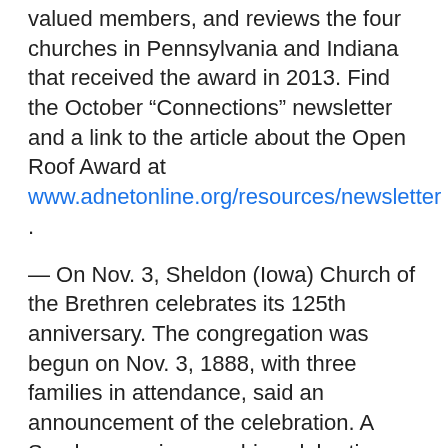valued members, and reviews the four churches in Pennsylvania and Indiana that received the award in 2013. Find the October “Connections” newsletter and a link to the article about the Open Roof Award at www.adnetonline.org/resources/newsletter .
— On Nov. 3, Sheldon (Iowa) Church of the Brethren celebrates its 125th anniversary. The congregation was begun on Nov. 3, 1888, with three families in attendance, said an announcement of the celebration. A Sunday morning worship celebration starts at 9:30 a.m., with cake, coffee, and punch served after the service. For those unable to attend in person, the church welcomes any special memories of time spent at the church. RSVP or send special memories by Oct. 27 to Sheldon Church of the Brethren, c/o Linda Adams, 712 6th St., Sheldon, IA 51201.
— Registration is due by Nov. 15 for the Shenandoah District Pastors for Peace conversation on “Why a